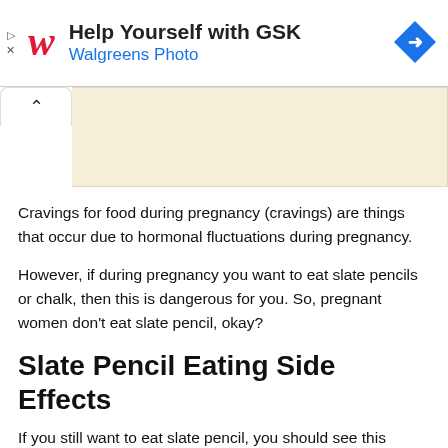[Figure (screenshot): Walgreens/GSK ad banner with 'Help Yourself with GSK' headline, Walgreens Photo subtext, red italic W logo, and blue navigation diamond icon]
[Figure (screenshot): UI element: chevron-up tab on left and beige content box on right]
Cravings for food during pregnancy (cravings) are things that occur due to hormonal fluctuations during pregnancy.
However, if during pregnancy you want to eat slate pencils or chalk, then this is dangerous for you. So, pregnant women don't eat slate pencil, okay?
Slate Pencil Eating Side Effects
If you still want to eat slate pencil, you should see this review about some of the possible side effects of eating